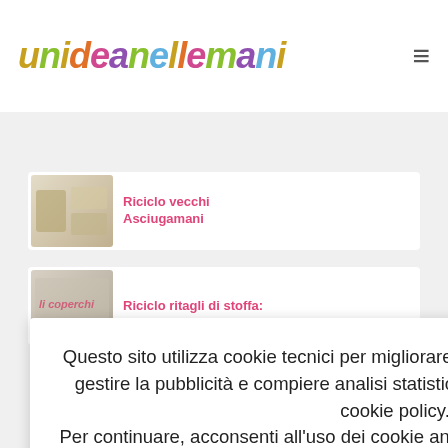unideanellemani
Riciclo vecchi Asciugamani
Riciclo ritagli di stoffa:
Questo sito utilizza cookie tecnici per migliorare la tua esperienza di navigazione, gestire la pubblicità e compiere analisi statistica del sito come specificato nella cookie policy. Per continuare, acconsenti all'uso dei cookie anche di terze parti o personalizza le tue preferenze
Salva e chiudi
Personalizza cookie
Leggi di più
Arredamento